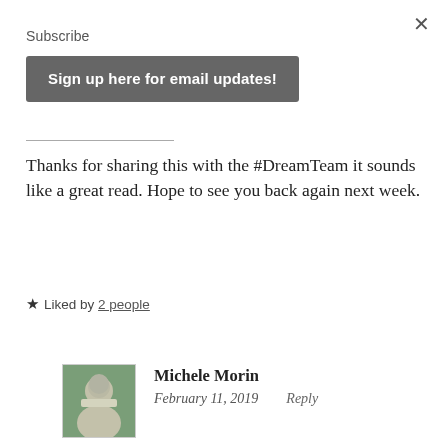×
Subscribe
Sign up here for email updates!
Thanks for sharing this with the #DreamTeam it sounds like a great read. Hope to see you back again next week.
★ Liked by 2 people
Michele Morin
February 11, 2019   Reply